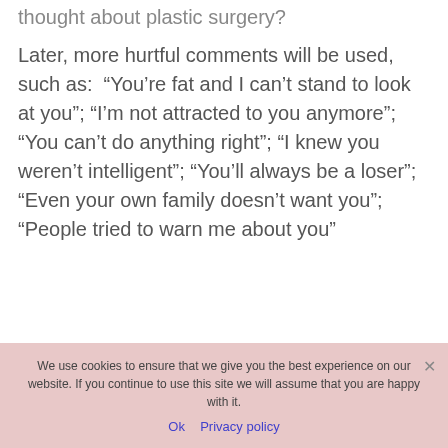thought about plastic surgery?
Later, more hurtful comments will be used, such as:  "You're fat and I can't stand to look at you"; "I'm not attracted to you anymore"; "You can't do anything right"; "I knew you weren't intelligent"; "You'll always be a loser"; "Even your own family doesn't want you"; "People tried to warn me about you"
We use cookies to ensure that we give you the best experience on our website. If you continue to use this site we will assume that you are happy with it.
Ok   Privacy policy